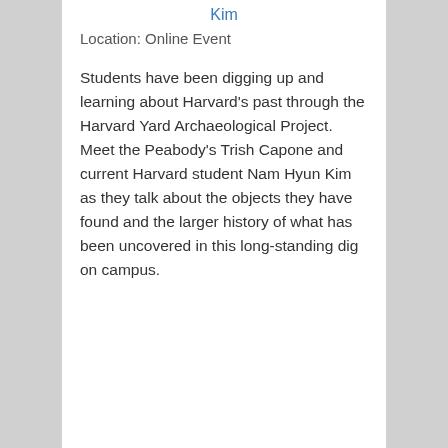Kim
Location: Online Event
Students have been digging up and learning about Harvard's past through the Harvard Yard Archaeological Project. Meet the Peabody's Trish Capone and current Harvard student Nam Hyun Kim as they talk about the objects they have found and the larger history of what has been uncovered in this long-standing dig on campus.